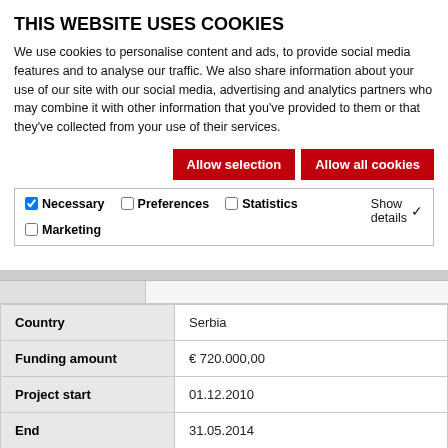THIS WEBSITE USES COOKIES
We use cookies to personalise content and ads, to provide social media features and to analyse our traffic. We also share information about your use of our site with our social media, advertising and analytics partners who may combine it with other information that you've provided to them or that they've collected from your use of their services.
Allow selection | Allow all cookies
Necessary | Preferences | Statistics | Marketing | Show details
|  |  |
| --- | --- |
| Country | Serbia |
| Funding amount | € 720.000,00 |
| Project start | 01.12.2010 |
| End | 31.05.2014 |
| Projects | Finanzieller Beitrag zu Learn4Dev |